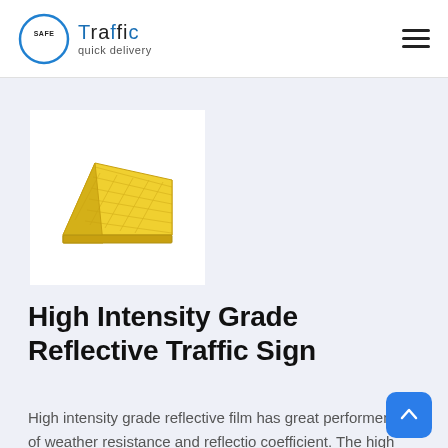[Figure (logo): Safe Traffic quick delivery logo: blue circle with SAFE text inside, followed by stylized Traffic text and 'quick delivery' subtitle]
[Figure (photo): Yellow plastic wheel chock / wedge-shaped traffic safety block with diamond-pattern surface texture, shown on white background]
High Intensity Grade Reflective Traffic Sign
High intensity grade reflective film has great performence of weather resistance and reflection coefficient. The high intensity grade film is mainly